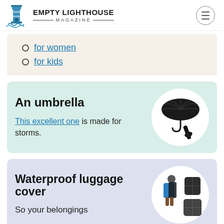Empty Lighthouse Magazine
for women
for kids
An umbrella
This excellent one is made for storms.
[Figure (photo): Black compact travel umbrella, shown open and folded]
Waterproof luggage cover
So your belongings
[Figure (photo): Person wearing blue jacket with large black backpack rain cover, and two luggage rain covers]